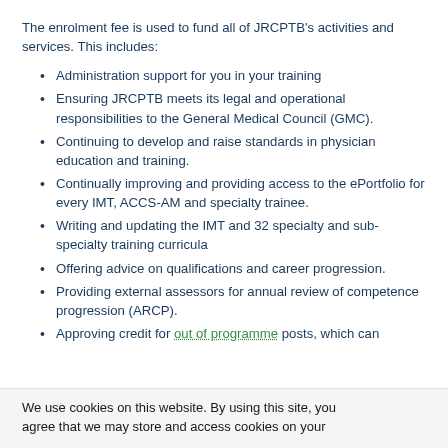The enrolment fee is used to fund all of JRCPTB's activities and services. This includes:
Administration support for you in your training
Ensuring JRCPTB meets its legal and operational responsibilities to the General Medical Council (GMC).
Continuing to develop and raise standards in physician education and training.
Continually improving and providing access to the ePortfolio for every IMT, ACCS-AM and specialty trainee.
Writing and updating the IMT and 32 specialty and sub-specialty training curricula
Offering advice on qualifications and career progression.
Providing external assessors for annual review of competence progression (ARCP).
Approving credit for out of programme posts, which can
We use cookies on this website. By using this site, you agree that we may store and access cookies on your